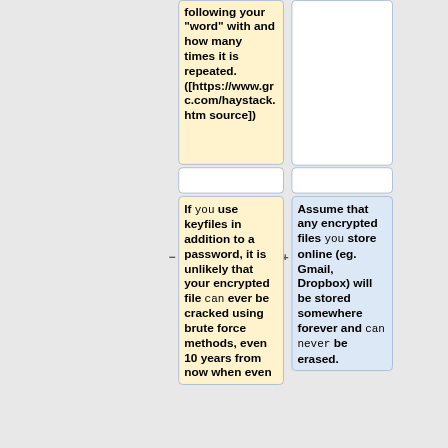following your "word" with and how many times it is repeated. ([https://www.grc.com/haystack.htm source])
If you use keyfiles in addition to a password, it is unlikely that your encrypted file can ever be cracked using brute force methods, even 10 years from now when even
Assume that any encrypted files you store online (eg. Gmail, Dropbox) will be stored somewhere forever and can never be erased.